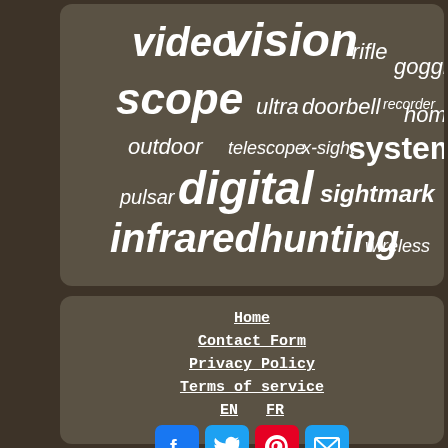[Figure (infographic): Word cloud on dark rounded card showing keywords: video, vision, rifle, goggles, scope, ultra, doorbell, recorder, home, outdoor, telescope, x-sight, system, digital, pulsar, sightmark, infrared, hunting, wireless]
Home
Contact Form
Privacy Policy
Terms of service
EN   FR
[Figure (infographic): Social media buttons: Facebook (blue), Twitter (blue), Pinterest (red), Email (blue)]